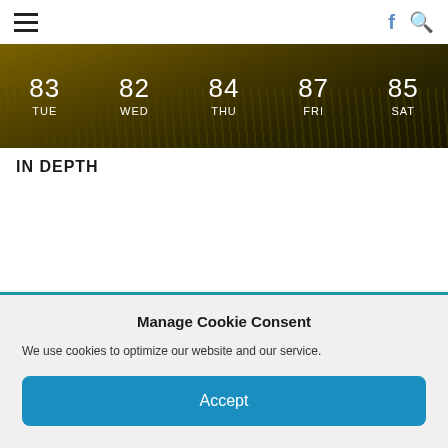≡  f 🔍
[Figure (infographic): Weather forecast banner showing temperatures and days: TUE 83, WED 82, THU 84, FRI 87, SAT 85, over a golden grass background]
IN DEPTH
Manage Cookie Consent
We use cookies to optimize our website and our service.
Accept